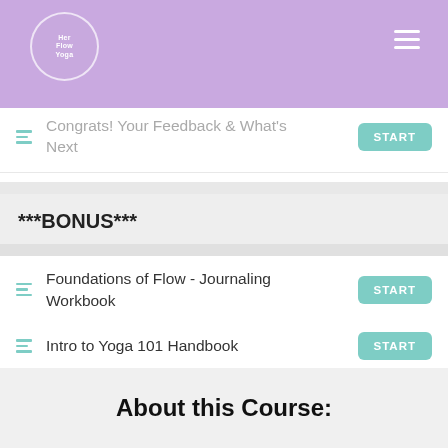Her Flow Yoga
Congrats! Your Feedback & What's Next
***BONUS***
Foundations of Flow - Journaling Workbook
Intro to Yoga 101 Handbook
Home Practice ToolKit
About this Course: